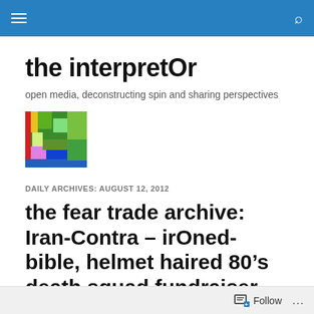the interpretOr — navigation bar
the interpretOr
open media, deconstructing spin and sharing perspectives
[Figure (photo): Colorful abstract map-like image used as site logo thumbnail]
DAILY ARCHIVES: AUGUST 12, 2012
the fear trade archive: Iran-Contra – irOned-bible, helmet haired 80's death squad fundraiser
Follow